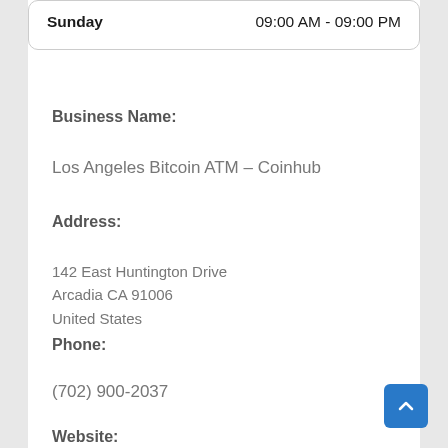| Day | Hours |
| --- | --- |
| Sunday | 09:00 AM - 09:00 PM |
Business Name:
Los Angeles Bitcoin ATM – Coinhub
Address:
142 East Huntington Drive
Arcadia CA 91006
United States
Phone:
(702) 900-2037
Website: